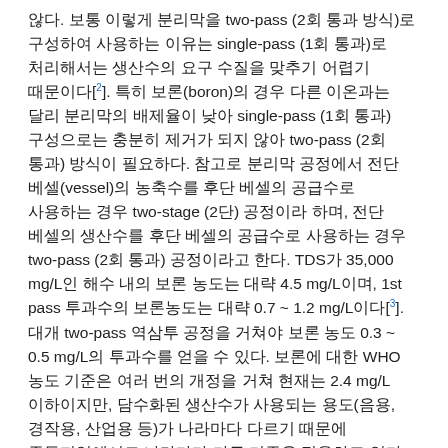않다. 보통 이렇게 분리막을 two-pass (2회 통과 방식)로 구성하여 사용하는 이유는 single-pass (1회 통과)로 처리해서는 생산수의 요구 수질을 맞추기 어렵기 때문이다[2]. 특히 보론(boron)의 경우 다른 이온과는 달리 분리막의 배제율이 낮아 single-pass (1회 통과) 구성으로는 충분히 제거가 되지 않아 two-pass (2회 통과) 방식이 필요하다. 참고로 분리막 공정에서 전단 베셀(vessel)의 농축수를 후단 베셀의 공급수로 사용하는 경우 two-stage (2단) 공정이라 하며, 전단 베셀의 생산수를 후단 베셀의 공급수로 사용하는 경우 two-pass (2회 통과) 공정이라고 한다. TDS가 35,000 mg/L인 해수 내의 보론 농도는 대략 4.5 mg/L이며, 1st pass 투과수의 보론농도는 대략 0.7 ~ 1.2 mg/L이다[3]. 대개 two-pass 역삼투 공정을 거쳐야 보론 농도 0.3 ~ 0.5 mg/L의 투과수를 얻을 수 있다. 보론에 대한 WHO 농도 기준은 여러 번의 개정을 거쳐 현재는 2.4 mg/L 이하이지만, 담수화된 생산수가 사용되는 용도(음용, 경작용, 산업용 등)가 나라마다 다르기 때문에 중동지역에서도 나라마다 다른 기준을 적용하고 있다[4]. 예를 들어, 사우디아라비아, 쿠웨이트, UAE는 각각 0.5, 1, 2.4 mg/L 이하를 기준으로 정해 운영하고 있다. 작물에 따라 보론 농도에 대한 민감도가 달라 경작용으로 사용시 생산수내 보론 농도가 보통 더 낮아야 한다.